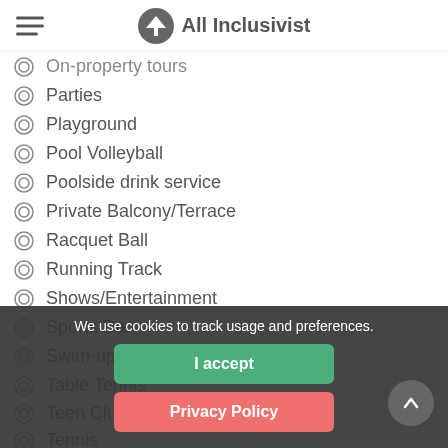All Inclusivist
On-property tours
Parties
Playground
Pool Volleyball
Poolside drink service
Private Balcony/Terrace
Racquet Ball
Running Track
Shows/Entertainment
Sports Bar
Swim-up pool bar
Table Tennis
Teen Club
Tennis
TV – Satellite or ...
Volleyball
We use cookies to track usage and preferences.